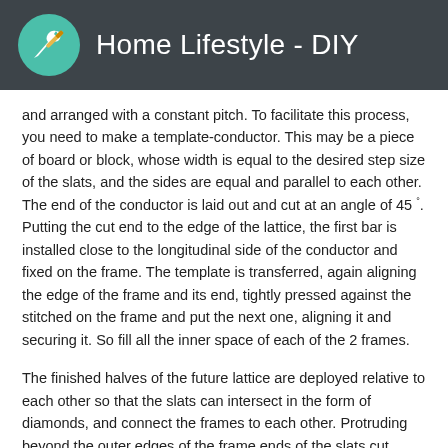Home Lifestyle - DIY
and arranged with a constant pitch. To facilitate this process, you need to make a template-conductor. This may be a piece of board or block, whose width is equal to the desired step size of the slats, and the sides are equal and parallel to each other. The end of the conductor is laid out and cut at an angle of 45 °. Putting the cut end to the edge of the lattice, the first bar is installed close to the longitudinal side of the conductor and fixed on the frame. The template is transferred, again aligning the edge of the frame and its end, tightly pressed against the stitched on the frame and put the next one, aligning it and securing it. So fill all the inner space of each of the 2 frames.
The finished halves of the future lattice are deployed relative to each other so that the slats can intersect in the form of diamonds, and connect the frames to each other. Protruding beyond the outer edges of the frame ends of the slats cut down flush. If you plan to install the frame so that the outer edge of the frame will be open, then its entire perimeter is sewn up with a flange of 1.5x3.
If it is necessary to protect the internal space enclosed by such gratings from insects or wind and rain, a grid or a thin sheet of polycarbonate can